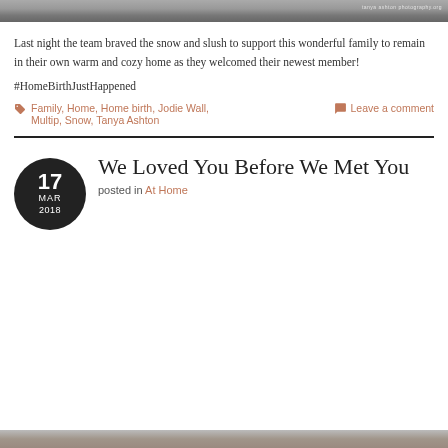[Figure (photo): Top portion of a black and white photo strip with a watermark in the upper right.]
Last night the team braved the snow and slush to support this wonderful family to remain in their own warm and cozy home as they welcomed their newest member!
#HomeBirthJustHappened
Family, Home, Home birth, Jodie Wall, Multip, Snow, Tanya Ashton   Leave a comment
We Loved You Before We Met You
posted in At Home
[Figure (photo): Bottom strip of a photo, partially visible.]